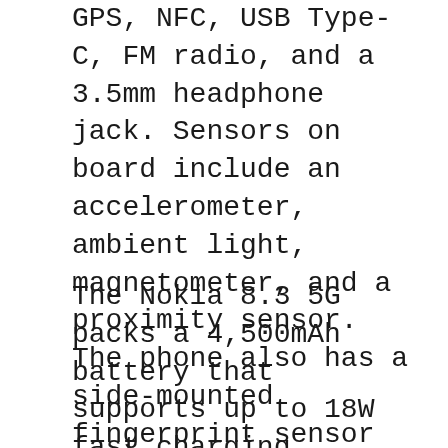GPS, NFC, USB Type-C, FM radio, and a 3.5mm headphone jack. Sensors on board include an accelerometer, ambient light, magnetometer, and a proximity sensor. The phone also has a side-mounted fingerprint sensor as well as a dedicated Google Assistant button.
The Nokia 8.3 5G packs a 4,500mAh battery that supports up to 18W fast charging. Lastly, the phone measures 171.90×78.56×8.99mm and weighs 220 grams.
Is Redmi Note 9 Pro the new best phone under Rs. 15,000? We discussed how you